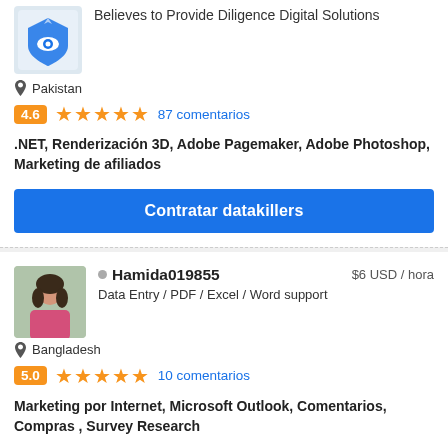[Figure (photo): Logo/avatar for datakillers — blue eye/shield icon]
Believes to Provide Diligence Digital Solutions
Pakistan
4.6 ★★★★★ 87 comentarios
.NET, Renderización 3D, Adobe Pagemaker, Adobe Photoshop, Marketing de afiliados
Contratar datakillers
[Figure (photo): Profile photo of Hamida019855 — woman in pink clothing]
Hamida019855  $6 USD / hora
Data Entry / PDF / Excel / Word support
Bangladesh
5.0 ★★★★★ 10 comentarios
Marketing por Internet, Microsoft Outlook, Comentarios, Compras , Survey Research
Contratar Hamida019855